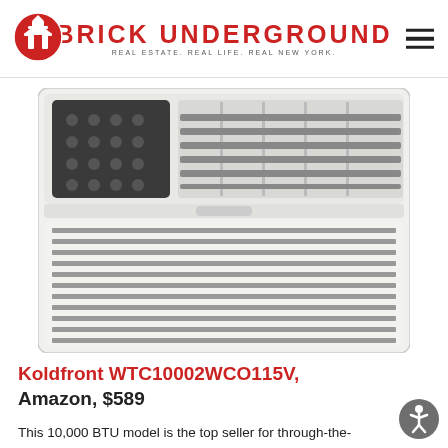BRICK UNDERGROUND — REAL ESTATE. REAL LIFE. REAL NEW YORK.
[Figure (photo): White Koldfront through-the-wall air conditioning unit with dark control panel on upper left and horizontal vent grilles on lower portion]
Koldfront WTC10002WCO115V, Amazon, $589
This 10,000 BTU model is the top seller for through-the-